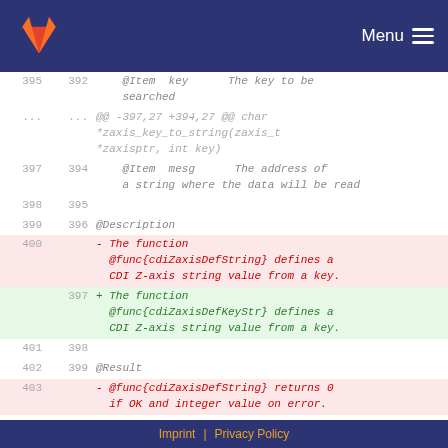GitLab | Menu
| old | new | code |
| --- | --- | --- |
| 395 | 392 |     @Item  key      The key to be
    searched |
| ... | ... | @@ -397,27 +394,27 @@ char
*zaxis_key_to_string(zaxis_t
*zaxisptr, int key) |
| 397 | 394 |     @Item  mesg      The address of
    a string where the data will be read |
| 398 | 395 |  |
| 399 | 396 | @Description |
| 400 |  | - The function
  @func{cdiZaxisDefString} defines a
  CDI Z-axis string value from a key. |
|  | 397 | + The function
  @func{cdiZaxisDefKeyStr} defines a
  CDI Z-axis string value from a key. |
| 401 | 398 |  |
| 402 | 399 | @Result |
| 403 |  | - @func{cdiZaxisDefString} returns 0
  if OK and integer value on error. |
Imprint | Privacy Policy